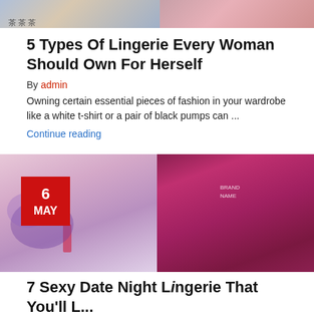[Figure (photo): Two fashion/lingerie images side by side at top of page]
5 Types Of Lingerie Every Woman Should Own For Herself
By admin
Owning certain essential pieces of fashion in your wardrobe like a white t-shirt or a pair of black pumps can ...
Continue reading
[Figure (photo): Two lingerie product images side by side with red date badge showing 6 MAY]
7 Sexy Date Night Lingerie That You'll Love...